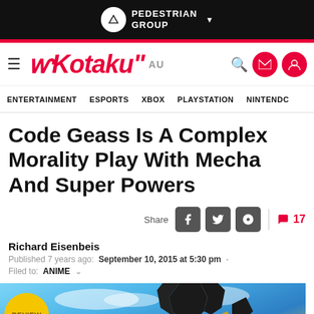PEDESTRIAN GROUP
[Figure (logo): Kotaku AU logo with hamburger menu and navigation icons]
ENTERTAINMENT  ESPORTS  XBOX  PLAYSTATION  NINTENDO
Code Geass Is A Complex Morality Play With Mecha And Super Powers
Share  17
Richard Eisenbeis
Published 7 years ago:  September 10, 2015 at 5:30 pm  -  Filed to: ANIME
[Figure (photo): Hero image with Review badge and mecha silhouette against blue sky]